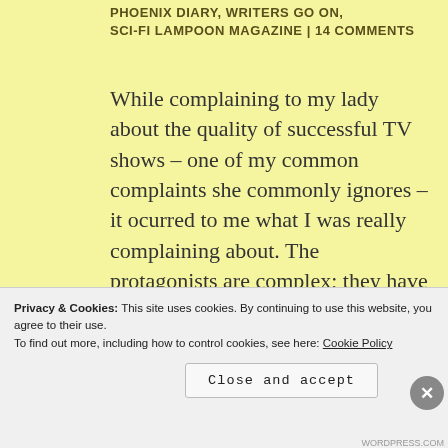PHOENIX DIARY, WRITERS GO ON, SCI-FI LAMPOON MAGAZINE | 14 COMMENTS
While complaining to my lady about the quality of successful TV shows – one of my common complaints she commonly ignores – it ocurred to me what I was really complaining about. The protagonists are complex; they have depth of character and they become easy to identify with. But the antagonists are cartoons.
Privacy & Cookies: This site uses cookies. By continuing to use this website, you agree to their use.
To find out more, including how to control cookies, see here: Cookie Policy
Close and accept